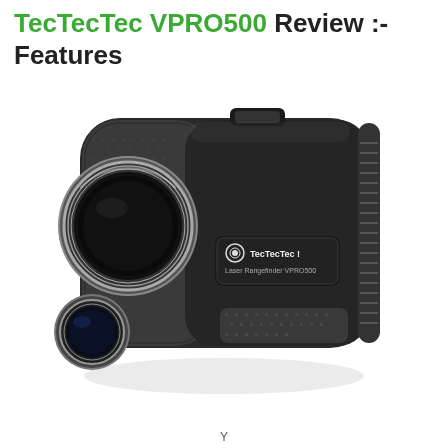TecTecTec VPRO500 Review :- Features
[Figure (photo): Photo of TecTecTec Laser Rangefinder VPRO500 device — a compact black monocular-style rangefinder with textured grip, large front objective lens with silver/chrome ring, smaller eyepiece lens at bottom-left, rubberized body with TecTecTec! logo badge and 'Laser Rangefinder VPRO500' label on the side, focus/zoom ring on the right end, and a button on top.]
Y